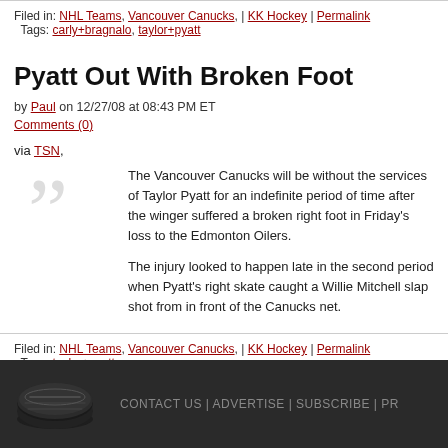Filed in: NHL Teams, Vancouver Canucks, | KK Hockey | Permalink
Tags: carly+bragnalo, taylor+pyatt
Pyatt Out With Broken Foot
by Paul on 12/27/08 at 08:43 PM ET
Comments (0)
via TSN,
The Vancouver Canucks will be without the services of Taylor Pyatt for an indefinite period of time after the winger suffered a broken right foot in Friday's loss to the Edmonton Oilers.

The injury looked to happen late in the second period when Pyatt's right skate caught a Willie Mitchell slap shot from in front of the Canucks net.
Filed in: NHL Teams, Vancouver Canucks, | KK Hockey | Permalink
Tags: taylor+pyatt
CONTACT US | ADVERTISE | SUBSCRIBE | PR